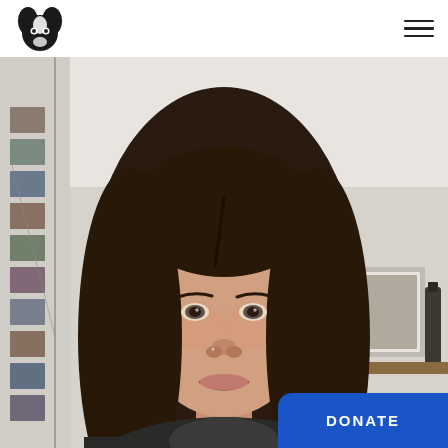[Figure (logo): Black and white illustrated dog face logo (looks like a border collie / badger-like dog) in the top-left header area]
[Figure (other): Hamburger menu icon (three horizontal lines) in the top-right corner of the header]
[Figure (photo): Portrait selfie photo of a young woman with long dark brown hair, light skin, wearing a dark grey/black speckled turtleneck top. She is smiling softly. Background shows a white room with a photo gallery wall on the left and framed art and a wine bottle on a wooden shelf on the right.]
DONATE